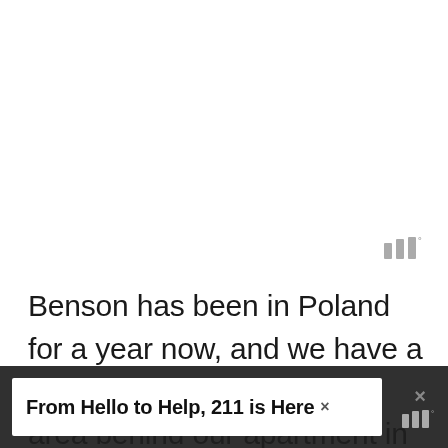[Figure (logo): Small logo with three vertical bars of different heights and a degree symbol, in gray]
Benson has been in Poland for a year now, and we have a beautiful, sprawling grassy area behind our apartment in which to walk him.  It's nicely
lo...
[Figure (screenshot): Advertisement banner: 'From Hello to Help, 211 is Here' with close button and logo]
D...